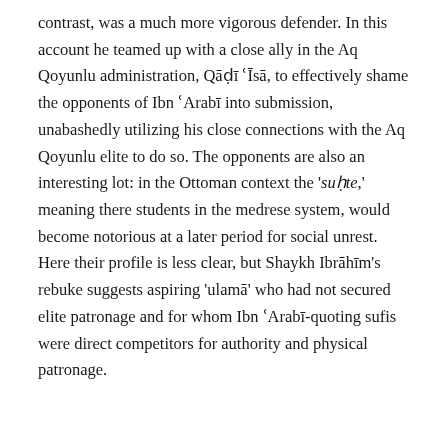contrast, was a much more vigorous defender. In this account he teamed up with a close ally in the Aq Qoyunlu administration, Qāḍī ʿĪsā, to effectively shame the opponents of Ibn ʿArabī into submission, unabashedly utilizing his close connections with the Aq Qoyunlu elite to do so. The opponents are also an interesting lot: in the Ottoman context the 'suhte,' meaning there students in the medrese system, would become notorious at a later period for social unrest. Here their profile is less clear, but Shaykh Ibrāhīm's rebuke suggests aspiring 'ulamā' who had not secured elite patronage and for whom Ibn ʿArabī-quoting sufis were direct competitors for authority and physical patronage.